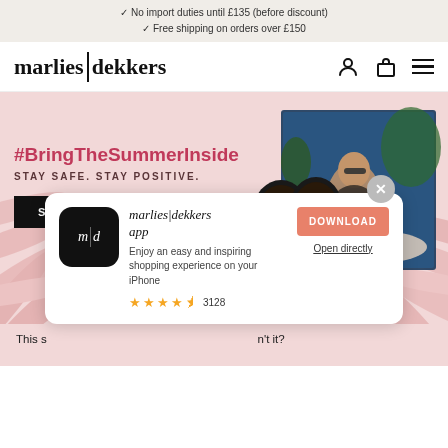No import duties until £135 (before discount)
Free shipping on orders over £150
[Figure (logo): marlies|dekkers logo with user, bag, and hamburger menu icons]
[Figure (infographic): Hero banner with pink background and palm leaves. Shows bikini product and lifestyle photo of woman in bathtub. #BringTheSummerInside STAY SAFE. STAY POSITIVE. SHOP NOW button. @gezonde_dutchies Instagram credit.]
#BringTheSummerInside
STAY SAFE. STAY POSITIVE.
SHOP NOW
[Figure (screenshot): App download popup for marlies|dekkers app with app icon, description, DOWNLOAD button, Open directly link, and star rating of 3128 reviews]
marlies|dekkers app
Enjoy an easy and inspiring shopping experience on your iPhone
★★★★½ 3128
DOWNLOAD
Open directly
This s                                                      n't it?